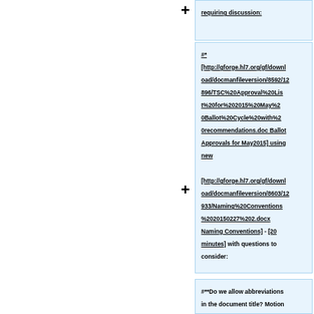requiring discussion:
#* [http://gforge.hl7.org/gf/download/docmanfileversion/8592/12896/TSC%20Approval%20List%20for%202015%20May%20Ballot%20Cycle%20with%20recommendations.doc Ballot Approvals for May2015] using new [http://gforge.hl7.org/gf/download/docmanfileversion/8603/12933/Naming%20Conventions%2020150227%202.docx Naming Conventions] - '''[20 minutes]''' with questions to consider:
#**Do we allow abbreviations in the document title? Motion